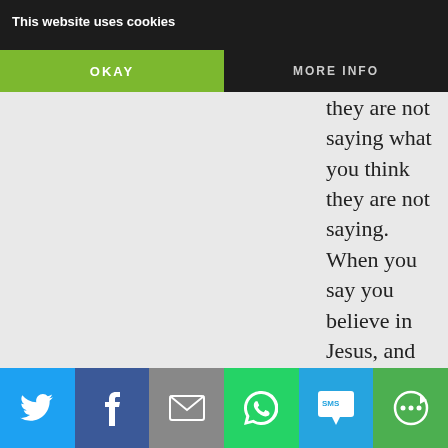[Figure (screenshot): Cookie consent banner overlaid on a webpage. Dark top bar with 'This website uses cookies' text, green OKAY button and MORE INFO button.]
believe, and when they say they do, they are not saying what you think they are not saying. When you say you believe in Jesus, and when they say it, they are not saying anything remotely related to what you are saying.
Liberals don't need to be starved of funds. They need to be threatened by ideas.
Money is a medium of exchange of perceived or actual value. The value comes from the idea: the product or
[Figure (screenshot): Social share buttons bar at bottom: Twitter (blue), Facebook (dark blue), Email (gray), WhatsApp (green), SMS (light blue), More (green).]